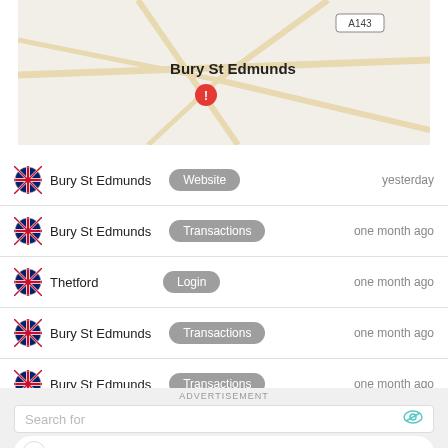[Figure (map): Map showing Bury St Edmunds area with road A143, road intersections, and a red location pin marker on Bury St Edmunds.]
Bury St Edmunds | Website | yesterday
Bury St Edmunds | Transactions | one month ago
Thetford | Login | one month ago
Bury St Edmunds | Transactions | one month ago
Bury St Edmunds | Transactions | one month ago
Bury St Edmunds | Mobile App | 3 months ago
ADVERTISEMENT
Search for
1   TV INTERNET PACKAGES